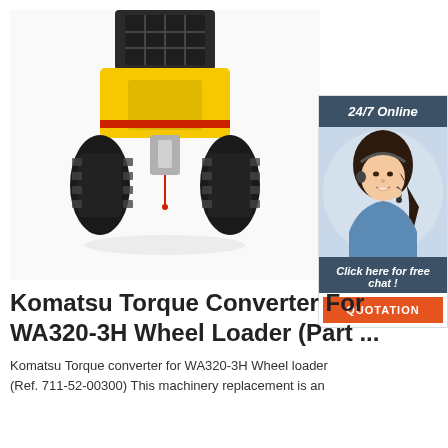[Figure (photo): Front view of a Komatsu WA320-3H wheel loader (track-type, yellow and black) photographed from the front, showing tracks, cab, and front attachment.]
[Figure (photo): Customer service representative (woman with headset, smiling) in a sidebar chat widget with dark blue header '24/7 Online', italic text 'Click here for free chat!', and an orange 'QUOTATION' button.]
Komatsu Torque Converter For WA320-3H Wheel Loader (Part ...
Komatsu Torque converter for WA320-3H Wheel loader (Ref. 711-52-00300) This machinery replacement is an